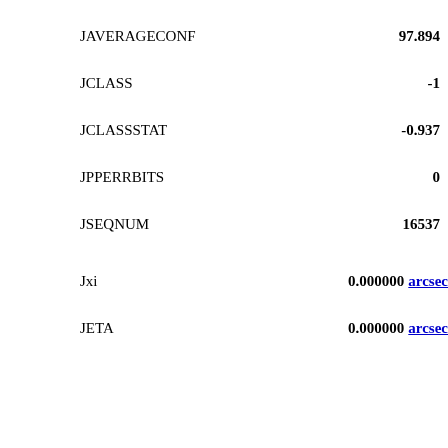JAVERAGECONF    97.894
JCLASS    -1
JCLASSSTAT    -0.937
JPPERRBITS    0
JSEQNUM    16537
Jxi    0.000000 arcsec
JETA    0.000000 arcsec